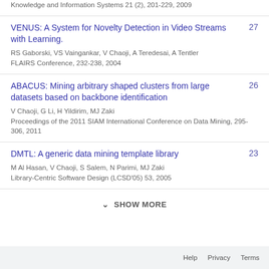Knowledge and Information Systems 21 (2), 201-229, 2009
VENUS: A System for Novelty Detection in Video Streams with Learning.
RS Gaborski, VS Vaingankar, V Chaoji, A Teredesai, A Tentler
FLAIRS Conference, 232-238, 2004
ABACUS: Mining arbitrary shaped clusters from large datasets based on backbone identification
V Chaoji, G Li, H Yildirim, MJ Zaki
Proceedings of the 2011 SIAM International Conference on Data Mining, 295-306, 2011
DMTL: A generic data mining template library
M Al Hasan, V Chaoji, S Salem, N Parimi, MJ Zaki
Library-Centric Software Design (LCSD'05) 53, 2005
SHOW MORE
Help  Privacy  Terms